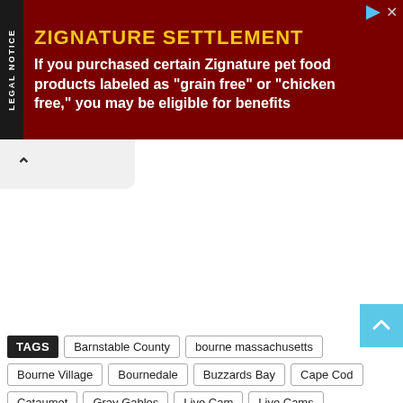[Figure (other): Legal notice advertisement banner with dark red background. Sidebar label 'LEGAL NOTICE' in vertical text on black background. Title 'ZIGNATURE SETTLEMENT' in yellow bold text. Body text: 'If you purchased certain Zignature pet food products labeled as "grain free" or "chicken free," you may be eligible for benefits']
^
TAGS
Barnstable County
bourne massachusetts
Bourne Village
Bournedale
Buzzards Bay
Cape Cod
Cataumet
Gray Gables
Live Cam
Live Cams
Live Stream